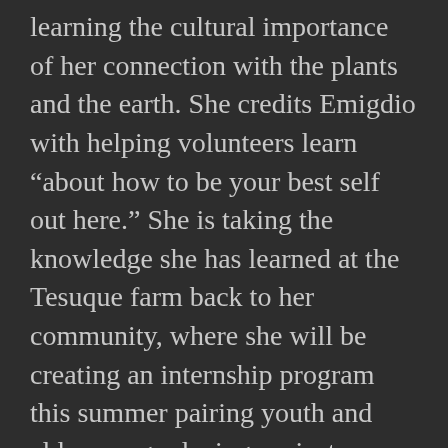learning the cultural importance of her connection with the plants and the earth. She credits Emigdio with helping volunteers learn “about how to be your best self out here.” She is taking the knowledge she has learned at the Tesuque farm back to her community, where she will be creating an internship program this summer pairing youth and elders on gardening projects. Volunteers like the students are imperative for this project: in addition to tending this farm, farm employees also prepare fields for community members interested in growing (this past spring they prepared 20 fields), as well as trying to grow